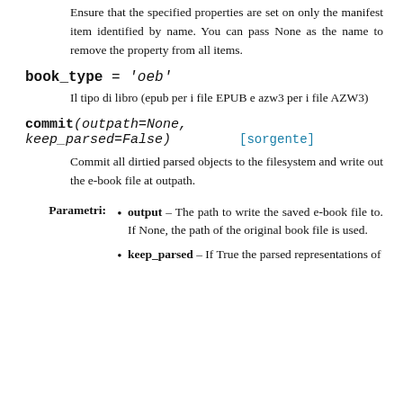Ensure that the specified properties are set on only the manifest item identified by name. You can pass None as the name to remove the property from all items.
book_type = 'oeb'
Il tipo di libro (epub per i file EPUB e azw3 per i file AZW3)
commit(outpath=None, keep_parsed=False) [sorgente]
Commit all dirtied parsed objects to the filesystem and write out the e-book file at outpath.
Parametri: • output – The path to write the saved e-book file to. If None, the path of the original book file is used. • keep_parsed – If True the parsed representations of